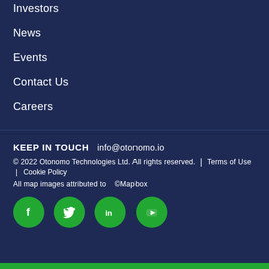Investors
News
Events
Contact Us
Careers
KEEP IN TOUCH   info@otonomo.io
© 2022 Otonomo Technologies Ltd. All rights reserved.  |  Terms of Use
| Cookie Policy
All map images attributed to   ©Mapbox
[Figure (infographic): Four green circular social media icons: Facebook (f), Twitter (bird), LinkedIn (in), YouTube (play button)]
Green bar at bottom of page